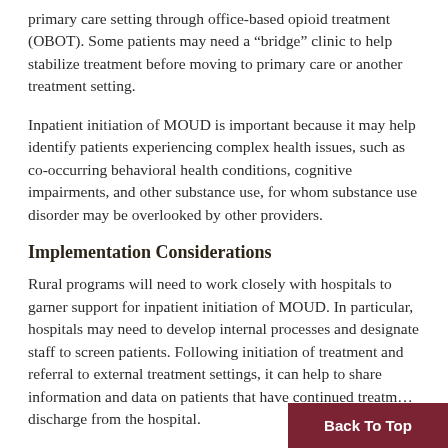primary care setting through office-based opioid treatment (OBOT). Some patients may need a “bridge” clinic to help stabilize treatment before moving to primary care or another treatment setting.
Inpatient initiation of MOUD is important because it may help identify patients experiencing complex health issues, such as co-occurring behavioral health conditions, cognitive impairments, and other substance use, for whom substance use disorder may be overlooked by other providers.
Implementation Considerations
Rural programs will need to work closely with hospitals to garner support for inpatient initiation of MOUD. In particular, hospitals may need to develop internal processes and designate staff to screen patients. Following initiation of treatment and referral to external treatment settings, it can help to share information and data on patients that have continued treatment discharge from the hospital.